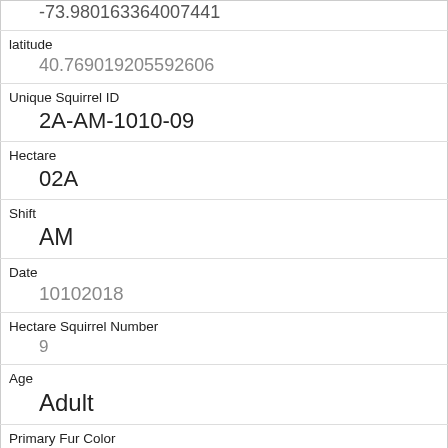| -73.980163364007441 |
| latitude | 40.769019205592606 |
| Unique Squirrel ID | 2A-AM-1010-09 |
| Hectare | 02A |
| Shift | AM |
| Date | 10102018 |
| Hectare Squirrel Number | 9 |
| Age | Adult |
| Primary Fur Color | Gray |
| Highlight Fur Color | White |
| Combination of Primary and Highlight Color |  |